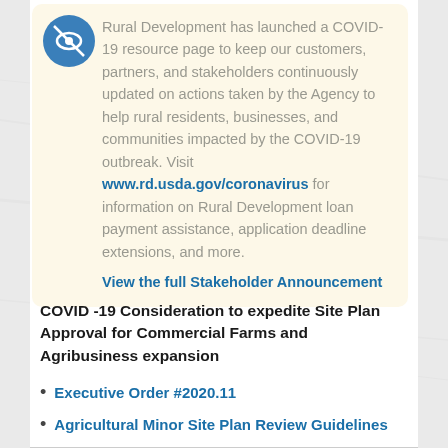Rural Development has launched a COVID-19 resource page to keep our customers, partners, and stakeholders continuously updated on actions taken by the Agency to help rural residents, businesses, and communities impacted by the COVID-19 outbreak. Visit www.rd.usda.gov/coronavirus for information on Rural Development loan payment assistance, application deadline extensions, and more.
View the full Stakeholder Announcement
COVID -19 Consideration to expedite Site Plan Approval for Commercial Farms and Agribusiness expansion
Executive Order #2020.11
Agricultural Minor Site Plan Review Guidelines